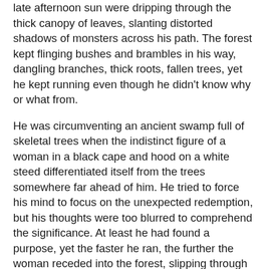late afternoon sun were dripping through the thick canopy of leaves, slanting distorted shadows of monsters across his path. The forest kept flinging bushes and brambles in his way, dangling branches, thick roots, fallen trees, yet he kept running even though he didn't know why or what from.
He was circumventing an ancient swamp full of skeletal trees when the indistinct figure of a woman in a black cape and hood on a white steed differentiated itself from the trees somewhere far ahead of him. He tried to force his mind to focus on the unexpected redemption, but his thoughts were too blurred to comprehend the significance. At least he had found a purpose, yet the faster he ran, the further the woman receded into the forest, slipping through his fingers right in front of his tired eyes.
On the other side of the wrinkle, the sun was always shining from an undisturbed sky, his office window glistening. He was sitting at his mahogany desk, his shadow motionless in front of him, trying to advance his career, thinking of forest monsters instead. The image of the woman was always at the back of his mind, but he couldn't make her come any